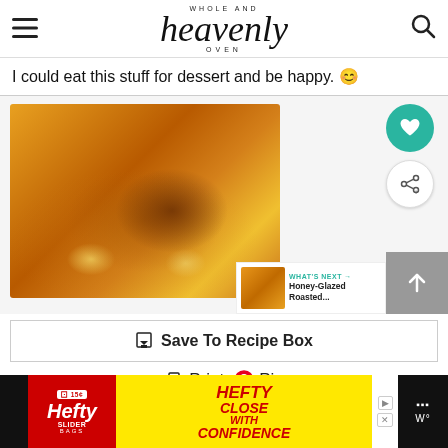Whole and Heavenly Oven
I could eat this stuff for dessert and be happy. 😊
[Figure (photo): A hand spooning sauce over roasted acorn squash halves on a white plate with rosemary garnish and lemon slices, overhead view]
WHAT'S NEXT → Honey-Glazed Roasted...
Save To Recipe Box
Print  Pin
★★★★★
[Figure (photo): Hefty Slider Bags advertisement banner with yellow background, red text reading CLOSE WITH CONFIDENCE]